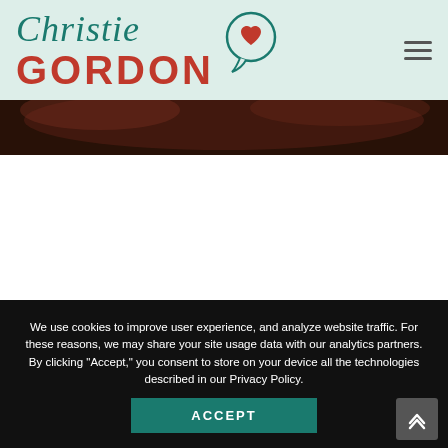Christie Gordon - website header with logo and navigation
[Figure (screenshot): Dark photo strip showing partial image of people, cropped]
We use cookies to improve user experience, and analyze website traffic. For these reasons, we may share your site usage data with our analytics partners. By clicking “Accept,” you consent to store on your device all the technologies described in our Privacy Policy.
ACCEPT